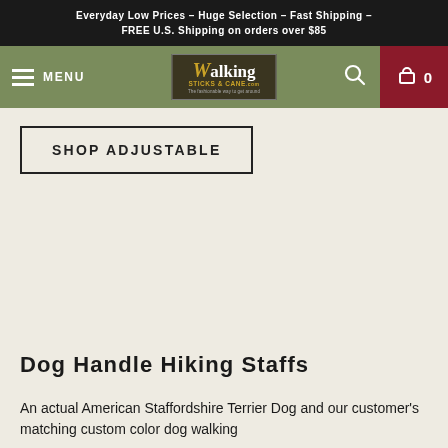Everyday Low Prices – Huge Selection – Fast Shipping – FREE U.S. Shipping on orders over $85
[Figure (screenshot): Navigation bar with hamburger menu labeled MENU, Walking Sticks & Cane logo in center, search icon and cart with 0 items on right against olive green background with dark red cart area]
SHOP ADJUSTABLE
Dog Handle Hiking Staffs
An actual American Staffordshire Terrier Dog and our customer's matching custom color dog walking